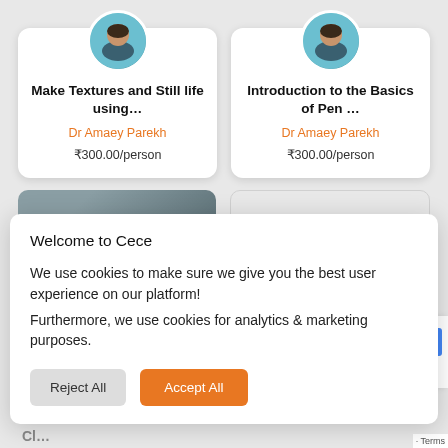[Figure (photo): Course card: Make Textures and Still life using... by Dr Amaey Parekh, ₹300.00/person]
[Figure (photo): Course card: Introduction to the Basics of Pen... by Dr Amaey Parekh, ₹300.00/person]
[Figure (photo): Partial course card with image (bottom left)]
[Figure (photo): Partial course card (bottom right, grey)]
Welcome to Cece

We use cookies to make sure we give you the best user experience on our platform!
Furthermore, we use cookies for analytics & marketing purposes.
Reject All
Accept All
Cl...
Terms